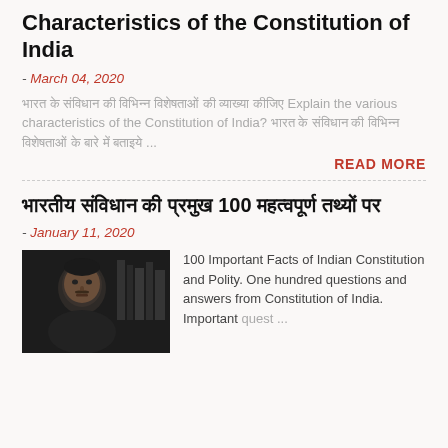Characteristics of the Constitution of India
- March 04, 2020
भारत के संविधान की विभिन्न विशेषताओं की व्याख्या कीजिए Explain the various characteristics of the Constitution of India? भारत के संविधान की विभिन्न विशेषताओं के बारे में बताइये ...
READ MORE
भारतीय संविधान की प्रमुख 100 महत्वपूर्ण तथ्यों पर
- January 11, 2020
100 Important Facts of Indian Constitution and Polity. One hundred questions and answers from Constitution of India. Important quest ...